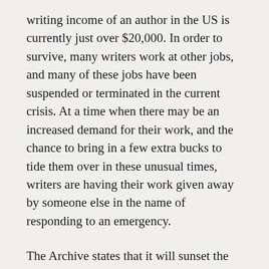writing income of an author in the US is currently just over $20,000. In order to survive, many writers work at other jobs, and many of these jobs have been suspended or terminated in the current crisis. At a time when there may be an increased demand for their work, and the chance to bring in a few extra bucks to tide them over in these unusual times, writers are having their work given away by someone else in the name of responding to an emergency.
The Archive states that it will sunset the new measures on June 30 or when the US national emergency is declared to be over, but they are using them as a further tool to weaken the protection that copyright affords to creators.